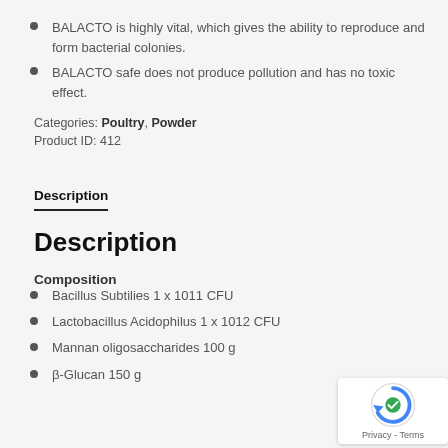BALACTO is highly vital, which gives the ability to reproduce and form bacterial colonies.
BALACTO safe does not produce pollution and has no toxic effect.
Categories: Poultry, Powder
Product ID: 412
Description
Description
Composition
Bacillus Subtilies 1 x 1011 CFU
Lactobacillus Acidophilus 1 x 1012 CFU
Mannan oligosaccharides 100 g
β-Glucan 150 g